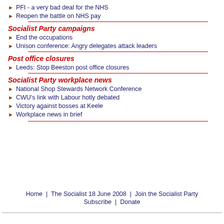PFI - a very bad deal for the NHS
Reopen the battle on NHS pay
Socialist Party campaigns
End the occupations
Unison conference: Angry delegates attack leaders
Post office closures
Leeds: Stop Beeston post office closures
Socialist Party workplace news
National Shop Stewards Network Conference
CWU's link with Labour hotly debated
Victory against bosses at Keele
Workplace news in brief
Home | The Socialist 18 June 2008 | Join the Socialist Party Subscribe | Donate